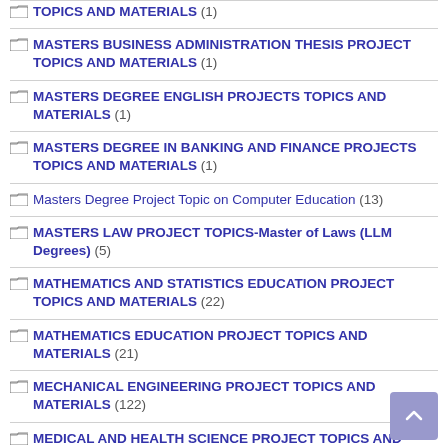TOPICS AND MATERIALS (1)
MASTERS BUSINESS ADMINISTRATION THESIS PROJECT TOPICS AND MATERIALS (1)
MASTERS DEGREE ENGLISH PROJECTS TOPICS AND MATERIALS (1)
MASTERS DEGREE IN BANKING AND FINANCE PROJECTS TOPICS AND MATERIALS (1)
Masters Degree Project Topic on Computer Education (13)
MASTERS LAW PROJECT TOPICS-Master of Laws (LLM Degrees) (5)
MATHEMATICS AND STATISTICS EDUCATION PROJECT TOPICS AND MATERIALS (22)
MATHEMATICS EDUCATION PROJECT TOPICS AND MATERIALS (21)
MECHANICAL ENGINEERING PROJECT TOPICS AND MATERIALS (122)
MEDICAL AND HEALTH SCIENCE PROJECT TOPICS AND MATERIALS (12)